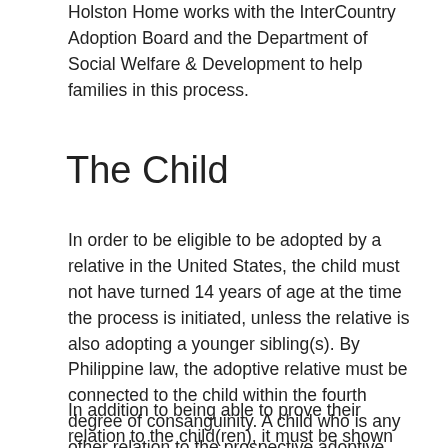Holston Home works with the InterCountry Adoption Board and the Department of Social Welfare & Development to help families in this process.
The Child
In order to be eligible to be adopted by a relative in the United States, the child must not have turned 14 years of age at the time the process is initiated, unless the relative is also adopting a younger sibling(s). By Philippine law, the adoptive relative must be connected to the child within the fourth degree of consanguinity. A child who is any other relation to the prospective adoptive parents would not be eligible under relative adoption procedures but may qualify as a pre-identified adoption on a case by case basis.
In addition to being able to prove their relation to the child(ren), it must be shown that the placement would